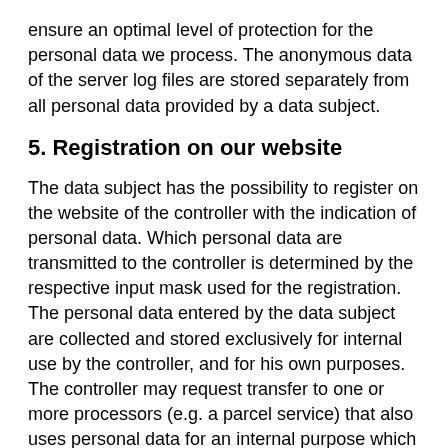ensure an optimal level of protection for the personal data we process. The anonymous data of the server log files are stored separately from all personal data provided by a data subject.
5. Registration on our website
The data subject has the possibility to register on the website of the controller with the indication of personal data. Which personal data are transmitted to the controller is determined by the respective input mask used for the registration. The personal data entered by the data subject are collected and stored exclusively for internal use by the controller, and for his own purposes. The controller may request transfer to one or more processors (e.g. a parcel service) that also uses personal data for an internal purpose which is attributable to the controller.
By registering on the website of the controller, the IP address—assigned by the Internet service provider (ISP) and used by the data subject—date, and time of the registration are also stored. The storage of this data takes